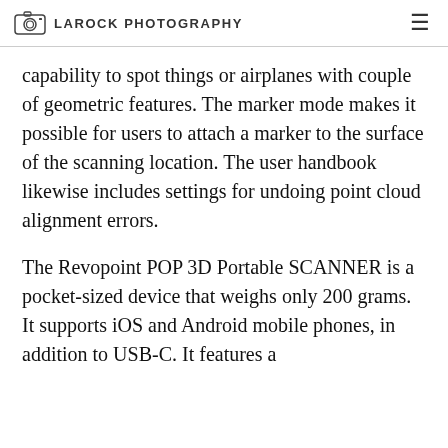LAROCK PHOTOGRAPHY
capability to spot things or airplanes with couple of geometric features. The marker mode makes it possible for users to attach a marker to the surface of the scanning location. The user handbook likewise includes settings for undoing point cloud alignment errors.
The Revopoint POP 3D Portable SCANNER is a pocket-sized device that weighs only 200 grams. It supports iOS and Android mobile phones, in addition to USB-C. It features a